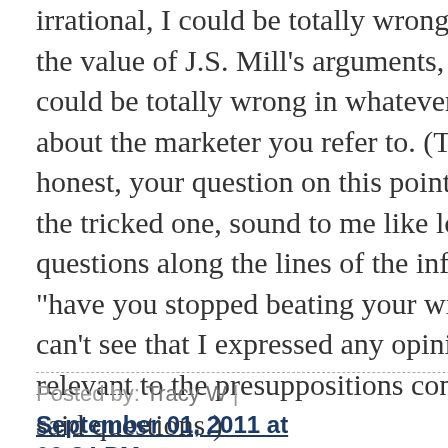irrational, I could be totally wrong about the value of J.S. Mill's arguments, and I could be totally wrong in whatever I think about the marketer you refer to. (To be honest, your question on this point and on the tricked one, sound to me like loaded questions along the lines of the infamous "have you stopped beating your wife?", as I can't see that I expressed any opinions relevant to the presuppositions contained in said questions.)
Posted by: Tracy W | September 01, 2011 at 06:34 PM